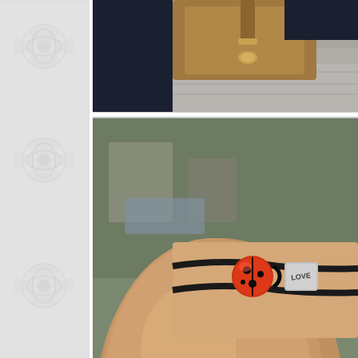[Figure (photo): Partial photo showing a brown leather bag with gold hardware and a person wearing dark clothing, street/pavement visible in background. Image is cropped at top of page.]
[Figure (photo): Close-up photo of a Pandora-style bracelet on a wrist, featuring a red and black decorative bead and a silver 'LOVE' charm on a black cord. A brown leather bag is visible in the background with street scene.]
Ropa y calzado: Zara; bolso: Asos; anillo: Ciclón; pulsera: P bracelet: Pandora